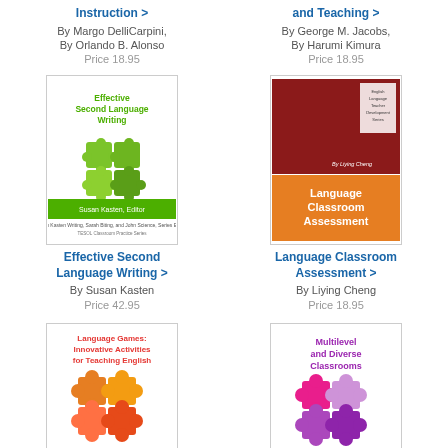Instruction >
By Margo DelliCarpini, By Orlando B. Alonso
Price 18.95
and Teaching >
By George M. Jacobs, By Harumi Kimura
Price 18.95
[Figure (illustration): Book cover: Effective Second Language Writing, green puzzle pieces, Susan Kasten Editor]
Effective Second Language Writing >
By Susan Kasten
Price 42.95
[Figure (illustration): Book cover: Language Classroom Assessment, dark red and orange design, By Liying Cheng]
Language Classroom Assessment >
By Liying Cheng
Price 18.95
[Figure (illustration): Book cover: Language Games: Innovative Activities for Teaching English, orange puzzle pieces]
[Figure (illustration): Book cover: Multilevel and Diverse Classrooms, purple/pink puzzle pieces]